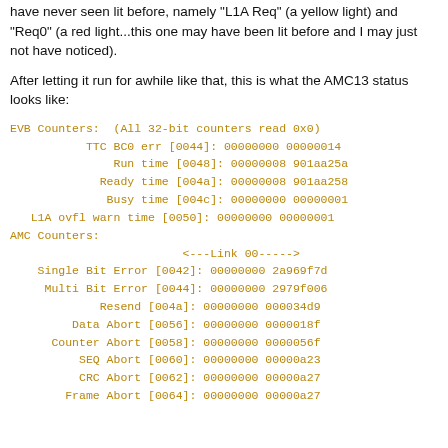have never seen lit before, namely "L1A Req" (a yellow light) and "Req0" (a red light...this one may have been lit before and I may just not have noticed).
After letting it run for awhile like that, this is what the AMC13 status looks like:
EVB Counters:  (All 32-bit counters read 0x0)
    TTC BC0 err [0044]: 00000000 00000014
        Run time [0048]: 00000008 901aa25a
      Ready time [004a]: 00000008 901aa258
       Busy time [004c]: 00000000 00000001
L1A ovfl warn time [0050]: 00000000 00000001
AMC Counters:
                              <---Link 00----->
   Single Bit Error [0042]: 00000000 2a969f7d
    Multi Bit Error [0044]: 00000000 2979f006
            Resend [004a]: 00000000 000034d9
        Data Abort [0056]: 00000000 0000018f
      Counter Abort [0058]: 00000000 0000056f
         SEQ Abort [0060]: 00000000 00000a23
         CRC Abort [0062]: 00000000 00000a27
       Frame Abort [0064]: 00000000 00000a27